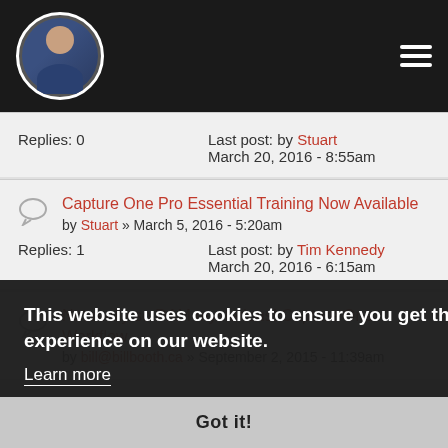[Figure (screenshot): Website header navigation bar with circular avatar photo of a bearded man in dark clothing and a hamburger menu icon on the right, on a black background]
Replies: 0   Last post: by Stuart
March 20, 2016 - 8:55am
Capture One Pro Essential Training Now Available by Stuart » March 5, 2016 - 5:20am
Replies: 1   Last post: by Tim Kennedy
March 20, 2016 - 6:15am
Not really so DAM mysterious! Capture One Workflow by bill@billbooth.ca » September 2, 2015 - 11:39am
This website uses cookies to ensure you get the best experience on our website.
Learn more
Got it!